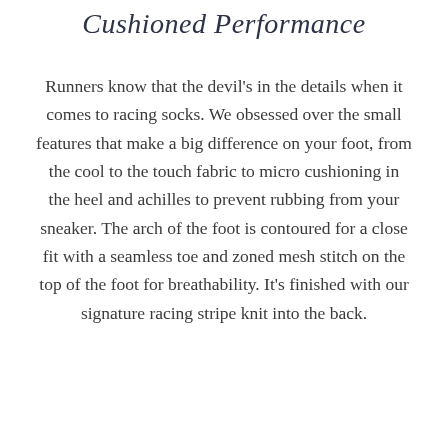Cushioned Performance
Runners know that the devil's in the details when it comes to racing socks. We obsessed over the small features that make a big difference on your foot, from the cool to the touch fabric to micro cushioning in the heel and achilles to prevent rubbing from your sneaker. The arch of the foot is contoured for a close fit with a seamless toe and zoned mesh stitch on the top of the foot for breathability. It's finished with our signature racing stripe knit into the back.